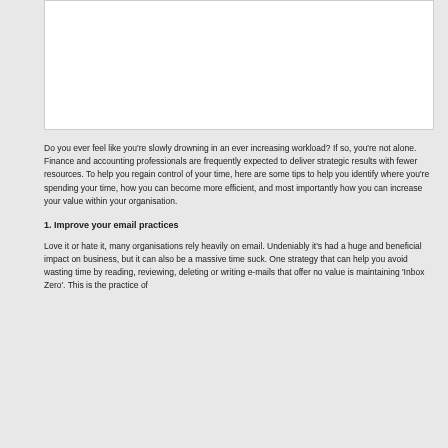[Figure (other): White rectangular image placeholder box with light border on grey background]
Do you ever feel like you're slowly drowning in an ever increasing workload? If so, you're not alone. Finance and accounting professionals are frequently expected to deliver strategic results with fewer resources. To help you regain control of your time, here are some tips to help you identify where you're spending your time, how you can become more efficient, and most importantly how you can increase your value within your organisation.
1. Improve your email practices
Love it or hate it, many organisations rely heavily on email. Undeniably it's had a huge and beneficial impact on business, but it can also be a massive time suck. One strategy that can help you avoid wasting time by reading, reviewing, deleting or writing e-mails that offer no value is maintaining 'Inbox Zero'. This is the practice of